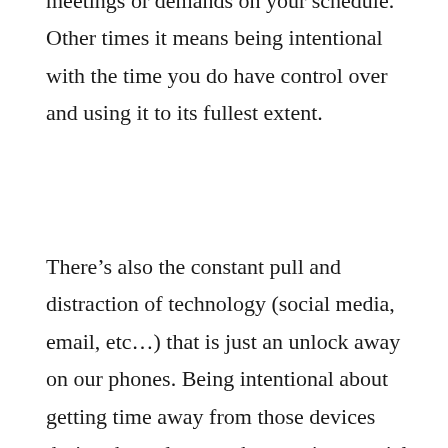meetings or demands on your schedule. Other times it means being intentional with the time you do have control over and using it to its fullest extent.
There’s also the constant pull and distraction of technology (social media, email, etc…) that is just an unlock away on our phones. Being intentional about getting time away from those devices during these deep work states is essential.